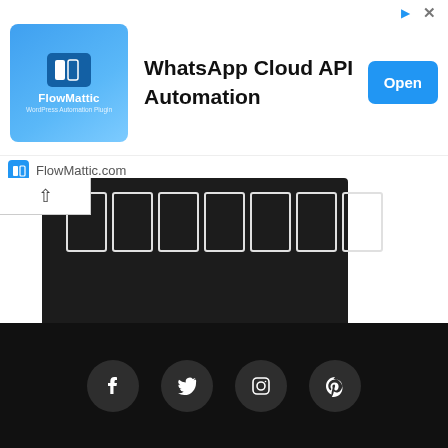[Figure (screenshot): FlowMattic advertisement banner with logo, WhatsApp Cloud API Automation title, and Open button]
[Figure (screenshot): Dark panel with white bordered rectangle boxes arranged horizontally, resembling a loading or UI component]
[Figure (infographic): Website footer with black background showing social media icon buttons: Facebook, Twitter, Instagram, Pinterest]